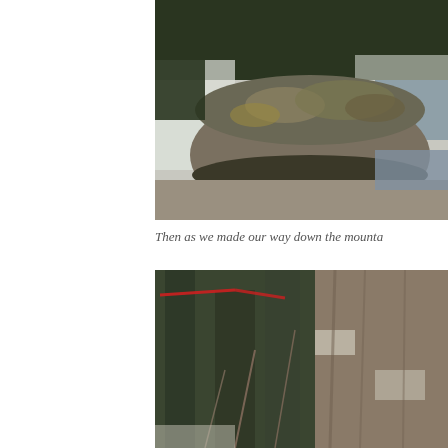[Figure (photo): Large boulder covered in lichen/moss beside a snowy riverbank with evergreen trees in the background, winter scene]
Then as we made our way down the mounta
[Figure (photo): Dense evergreen forest and rocky cliff face with sparse snow on a winter hillside, a red rope or marker visible in upper left]